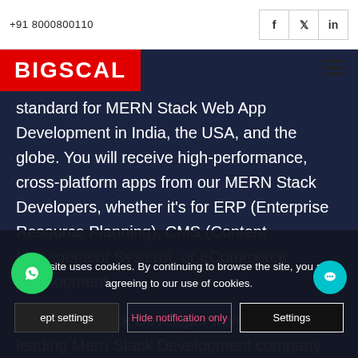+91 8000800110
[Figure (logo): BIGSCAL logo — white text on red background]
standard for MERN Stack Web App Development in India, the USA, and the globe. You will receive high-performance, cross-platform apps from our MERN Stack Developers, whether it's for ERP (Enterprise Resource Planning), CMS (Content Management System), or eCommerce development.
Hire Mern Stack Developer from bigscal the leading Mern Stack Development company based in India. We are providing to be well in MERN Stack...
Our MERN stack engineers use the React JS
This site uses cookies. By continuing to browse the site, you are agreeing to our use of cookies.